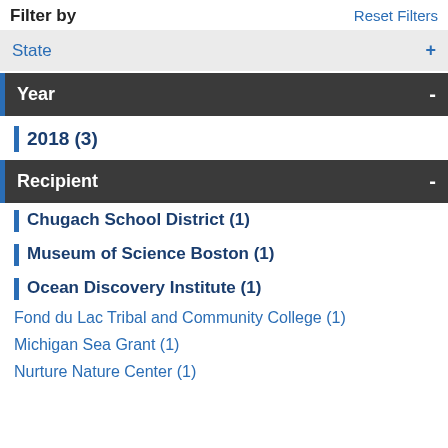Filter by
Reset Filters
State +
Year -
2018 (3)
Recipient -
Chugach School District (1)
Museum of Science Boston (1)
Ocean Discovery Institute (1)
Fond du Lac Tribal and Community College (1)
Michigan Sea Grant (1)
Nurture Nature Center (1)